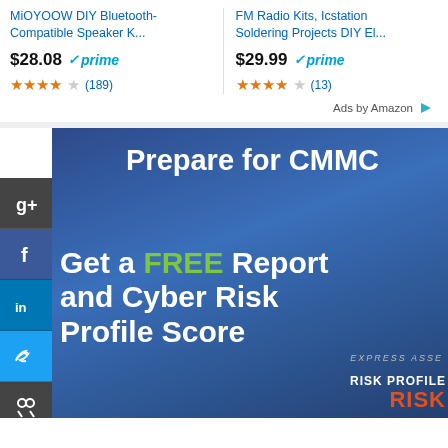[Figure (screenshot): Amazon ad for MiOYOOW DIY Bluetooth-Compatible Speaker Kit priced at $28.08 with Prime badge and 4-star rating (189 reviews)]
[Figure (screenshot): Amazon ad for FM Radio Kits, Icstation Soldering Projects DIY Electronics priced at $29.99 with Prime badge and 4-star rating (13 reviews)]
Ads by Amazon
[Figure (infographic): Cybersecurity advertisement with dark blue background. Text reads: Prepare for CMMC. Get a FREE Report and Cyber Risk Profile Score. Shows a book/report product in bottom right corner with text RISK PROFILE and EXPRESS ASSESSMENT. Social media sidebar on left with Google+, Facebook, LinkedIn, Twitter, Stumbleupon icons.]